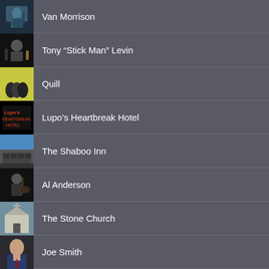Van Morrison
Tony “Stick Man” Levin
Quill
Lupo’s Heartbreak Hotel
The Shaboo Inn
Al Anderson
The Stone Church
Joe Smith